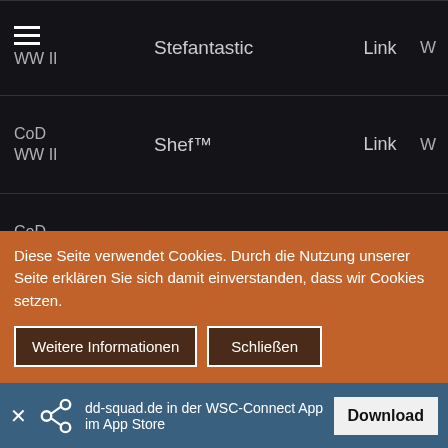| Game | Player | Link |  |
| --- | --- | --- | --- |
| CoD WW II | Stefantastic | Link | W |
| CoD WW II | Shef™ | Link | W |
| CoD WW II | [eNoG]El Chapo | Link | W |
| CoD WW II | Sido-Lin | Link | W |
| CoD WW II | eX.Crew-DoC | Link | W |
Diese Seite verwendet Cookies. Durch die Nutzung unserer Seite erklären Sie sich damit einverstanden, dass wir Cookies setzen.
Weitere Informationen
Schließen
dd-squad.de in der WSC-Connect App im App Store
Download